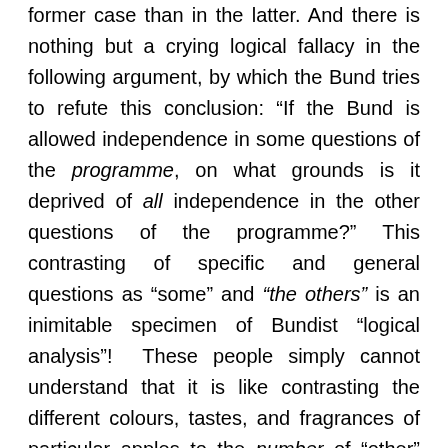former case than in the latter. And there is nothing but a crying logical fallacy in the following argument, by which the Bund tries to refute this conclusion: "If the Bund is allowed independence in some questions of the programme, on what grounds is it deprived of all independence in the other questions of the programme?" This contrasting of specific and general questions as "some" and "the others" is an inimitable specimen of Bundist "logical analysis"! These people simply cannot understand that it is like contrasting the different colours, tastes, and fragrances of particular apples to the number of "other" apples. We make bold to inform you, gentlemen, that not only